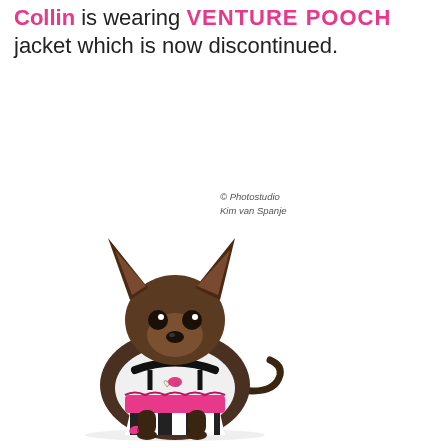Collin is wearing VENTURE POOCH jacket which is now discontinued.
© Photostudio Kim van Spanje
[Figure (photo): A small Chihuahua puppy with brown/tan coloring sitting upright wearing a fashionable black and white striped outfit with pink accents and ruffles, on a white background.]